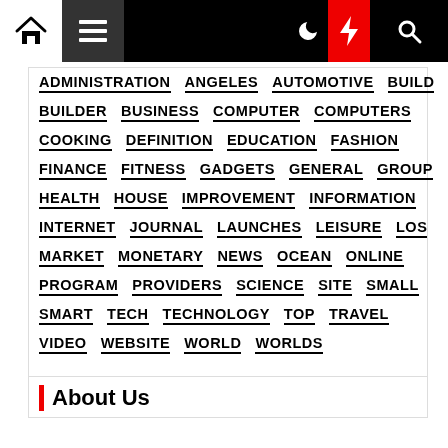Navigation header with home, menu, moon, lightning, search icons
ADMINISTRATION ANGELES AUTOMOTIVE BUILD BUILDER BUSINESS COMPUTER COMPUTERS COOKING DEFINITION EDUCATION FASHION FINANCE FITNESS GADGETS GENERAL GROUP HEALTH HOUSE IMPROVEMENT INFORMATION INTERNET JOURNAL LAUNCHES LEISURE LOS MARKET MONETARY NEWS OCEAN ONLINE PROGRAM PROVIDERS SCIENCE SITE SMALL SMART TECH TECHNOLOGY TOP TRAVEL VIDEO WEBSITE WORLD WORLDS
About Us